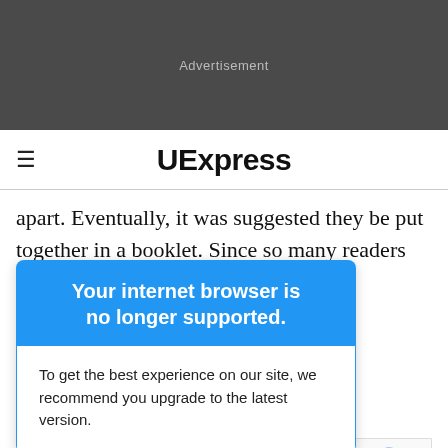[Figure (other): Advertisement banner - dark gray background with 'Advertisement' label]
UExpress
apart. Eventually, it was suggested they be put together in a booklet. Since so many readers kept the
[Figure (other): Browser warning popup: 'Your internet browser is no longer supported. To get the best experience on our site, we recommend you upgrade to the latest version.']
eepers." It can mailing or $7 (U.S. P.O. Box and han
are included in the price. Filled with clever